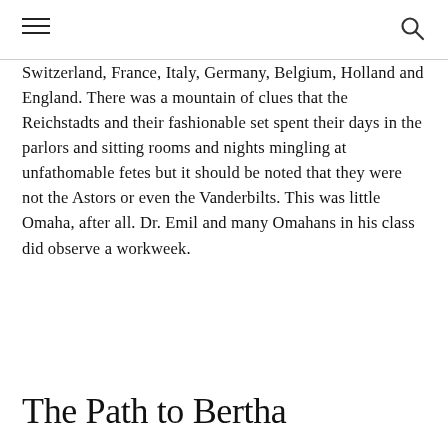Switzerland, France, Italy, Germany, Belgium, Holland and England. There was a mountain of clues that the Reichstadts and their fashionable set spent their days in the parlors and sitting rooms and nights mingling at unfathomable fetes but it should be noted that they were not the Astors or even the Vanderbilts. This was little Omaha, after all. Dr. Emil and many Omahans in his class did observe a workweek.
The Path to Bertha